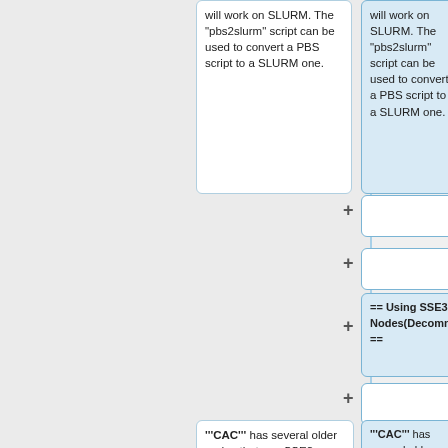will work on SLURM. The "pbs2slurm" script can be used to convert a PBS script to a SLURM one.
will work on SLURM. The "pbs2slurm" script can be used to convert a PBS script to a SLURM one.
== Using SSE3 Nodes(Decommissioned) ==
'''CAC''' has several older nodes that use SSE3 architecture (as opposed to